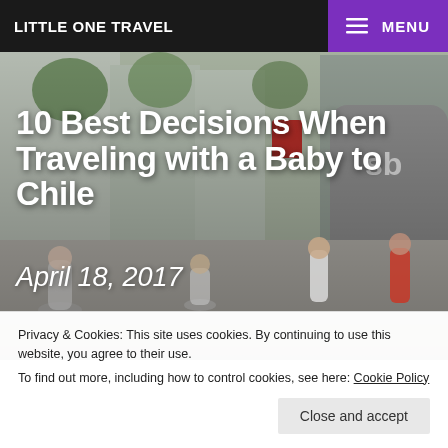LITTLE ONE TRAVEL
MENU
[Figure (photo): Street scene in Chile with people walking on a busy pedestrian street, tall buildings, trees, shops including 'sb' store, woman with stroller in foreground.]
10 Best Decisions When Traveling with a Baby to Chile
April 18, 2017
Privacy & Cookies: This site uses cookies. By continuing to use this website, you agree to their use.
To find out more, including how to control cookies, see here: Cookie Policy
Close and accept